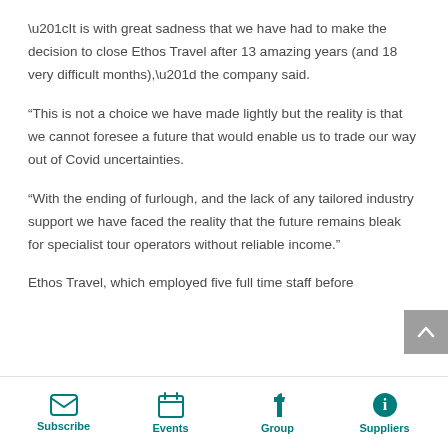“It is with great sadness that we have had to make the decision to close Ethos Travel after 13 amazing years (and 18 very difficult months),” the company said.
“This is not a choice we have made lightly but the reality is that we cannot foresee a future that would enable us to trade our way out of Covid uncertainties.
“With the ending of furlough, and the lack of any tailored industry support we have faced the reality that the future remains bleak for specialist tour operators without reliable income.”
Ethos Travel, which employed five full time staff before
Subscribe | Events | Group | Suppliers